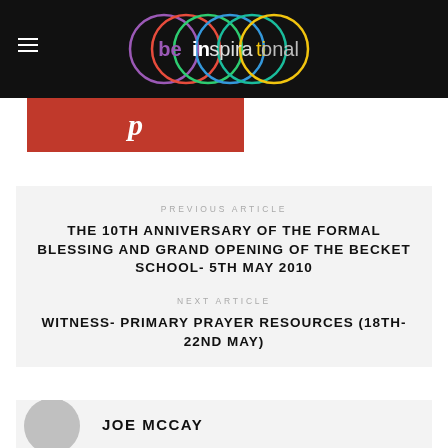be inspirational
[Figure (logo): be inspirational logo with overlapping colorful circles on black background]
[Figure (screenshot): Red Pinterest share button with white italic p]
PREVIOUS ARTICLE
THE 10TH ANNIVERSARY OF THE FORMAL BLESSING AND GRAND OPENING OF THE BECKET SCHOOL- 5TH MAY 2010
NEXT ARTICLE
WITNESS- PRIMARY PRAYER RESOURCES (18TH-22ND MAY)
JOE MCCAY